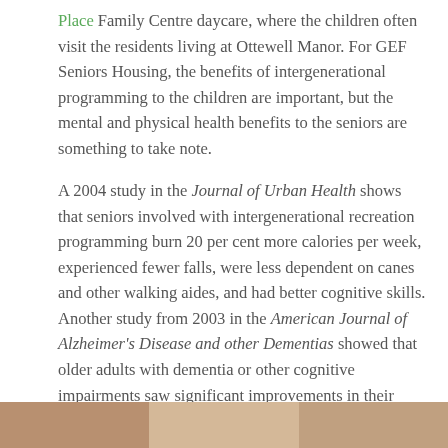Place Family Centre daycare, where the children often visit the residents living at Ottewell Manor. For GEF Seniors Housing, the benefits of intergenerational programming to the children are important, but the mental and physical health benefits to the seniors are something to take note.
A 2004 study in the Journal of Urban Health shows that seniors involved with intergenerational recreation programming burn 20 per cent more calories per week, experienced fewer falls, were less dependent on canes and other walking aides, and had better cognitive skills. Another study from 2003 in the American Journal of Alzheimer's Disease and other Dementias showed that older adults with dementia or other cognitive impairments saw significant improvements in their overall mental health during interactions with children.
[Figure (photo): Partial view of a photo strip at the bottom of the page, showing warm-toned imagery cropped at the bottom edge.]